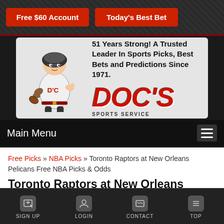Free $60 Account
Today's Best Bet
[Figure (logo): Doc's Sports Service logo with football mascot character and red DOC'S text with tagline '51 Years Strong! A Trusted Leader In Sports Picks, Best Bets and Predictions Since 1971.']
Main Menu
Free Picks » NBA Picks » Toronto Raptors at New Orleans Pelicans Free NBA Picks & Odds
Toronto Raptors at New Orleans Pelicans Free NBA Picks & Odds
SIGN UP  LOGIN  CONTACT  TOP